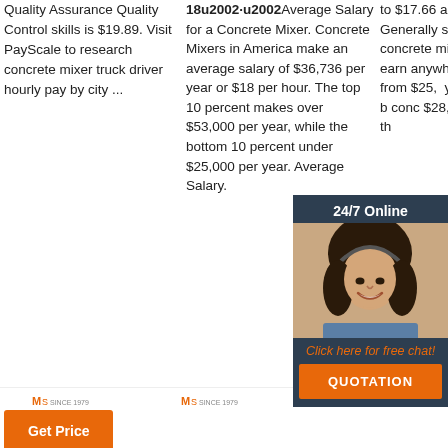Quality Assurance Quality Control skills is $19.89. Visit PayScale to research concrete mixer truck driver hourly pay by city ...
[Figure (other): Orange 'Get Price' button]
18u2002·u2002Average Salary for a Concrete Mixer. Concrete Mixers in America make an average salary of $36,736 per year or $18 per hour. The top 10 percent makes over $53,000 per year, while the bottom 10 percent under $25,000 per year. Average Salary.
[Figure (other): Orange 'Get Price' button]
to $17.66 an hour. Generally speaking, concrete mixers earn anywhere from $25, yea... the b... conc... $28, ones... of th...
[Figure (photo): 24/7 Online chat widget with female agent wearing headset, dark background, orange QUOTATION button and 'Click here for free chat!' text]
[Figure (other): Orange 'Get Price' button (partially visible)]
[Figure (logo): TOP button with orange dot pattern above orange TOP text]
[Figure (logo): Three MS since 1979 logos at bottom of page with partial truck/machinery images]